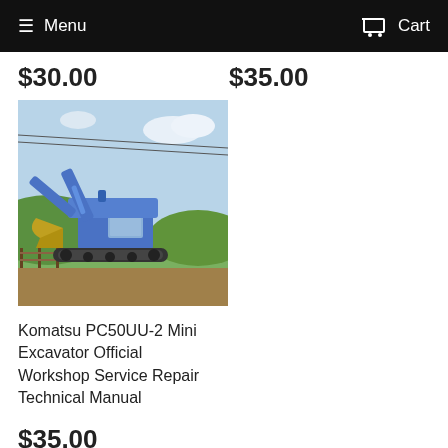Menu  Cart
$30.00  $35.00
[Figure (photo): Blue Komatsu PC50UU-2 mini excavator parked on a grassy hillside with a fence and trees in the background]
Komatsu PC50UU-2 Mini Excavator Official Workshop Service Repair Technical Manual
$35.00